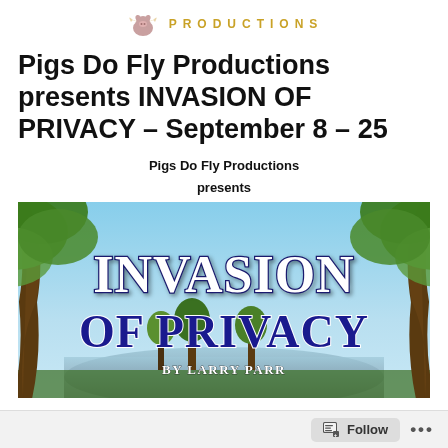PRODUCTIONS
Pigs Do Fly Productions presents INVASION OF PRIVACY – September 8 – 25
Pigs Do Fly Productions
presents
[Figure (illustration): Promotional banner image for 'Invasion of Privacy by Larry Parr'. Shows a scenic outdoor background with trees and a lake/water view. Large white and blue stylized text reads 'INVASION OF PRIVACY' with 'by Larry Parr' below in smaller text.]
Follow